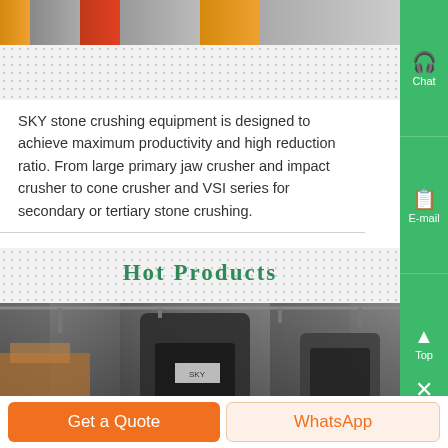[Figure (photo): Top image strip showing construction/mining equipment in an outdoor yard with yellow and orange machinery and a red vehicle.]
SKY stone crushing equipment is designed to achieve maximum productivity and high reduction ratio. From large primary jaw crusher and impact crusher to cone crusher and VSI series for secondary or tertiary stone crushing.
Hot Products
[Figure (photo): Interior of a manufacturing facility showing large industrial cone crushers and other heavy crushing equipment in grey and orange colors.]
Get a Quote
WhatsApp